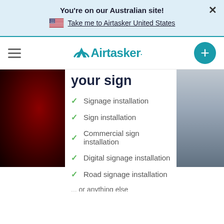You're on our Australian site!
Take me to Airtasker United States
[Figure (logo): Airtasker logo with hamburger menu and plus button]
your sign
Signage installation
Sign installation
Commercial sign installation
Digital signage installation
Road signage installation
... or anything else